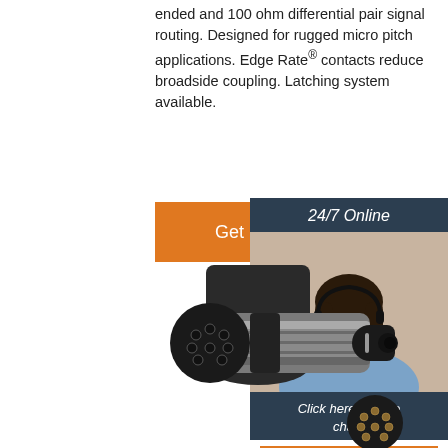ended and 100 ohm differential pair signal routing. Designed for rugged micro pitch applications. Edge Rate® contacts reduce broadside coupling. Latching system available.
[Figure (other): Orange 'Get Price' button]
[Figure (infographic): 24/7 Online chat widget with photo of woman with headset, 'Click here for free chat!' text, and orange QUOTATION button]
[Figure (photo): Electronic connector component - cylindrical metal connector with black plastic housing and circular pin array, plus separate pin insert shown below]